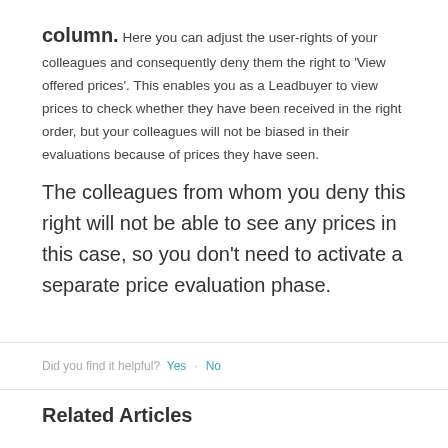column. Here you can adjust the user-rights of your colleagues and consequently deny them the right to 'View offered prices'. This enables you as a Leadbuyer to view prices to check whether they have been received in the right order, but your colleagues will not be biased in their evaluations because of prices they have seen.
The colleagues from whom you deny this right will not be able to see any prices in this case, so you don't need to activate a separate price evaluation phase.
Did you find it helpful? Yes · No
Related Articles